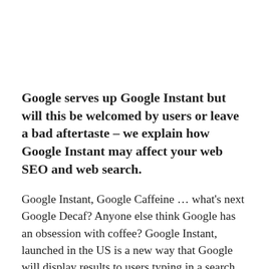Google serves up Google Instant but will this be welcomed by users or leave a bad aftertaste – we explain how Google Instant may affect your web SEO and web search.
Google Instant, Google Caffeine … what's next Google Decaf? Anyone else think Google has an obsession with coffee? Google Instant, launched in the US is a new way that Google will display results to users typing in a search query but how will this effect web SEO? It's hasn't launched in Australia yet but it is currently being rolled out in